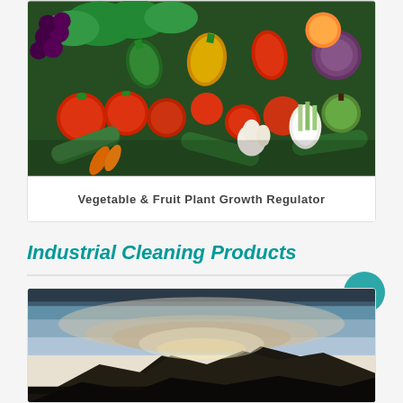[Figure (photo): Photo of assorted fresh vegetables and fruits including tomatoes, peppers, cucumbers, green onions, apples, and leafy greens arranged together]
Vegetable & Fruit Plant Growth Regulator
Industrial Cleaning Products
[Figure (photo): Photo showing an outdoor landscape with dark sky and a mountain or hill silhouette, representing industrial cleaning product category]